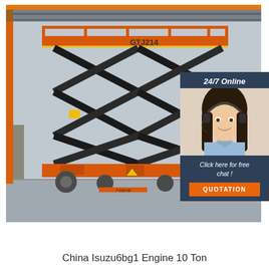[Figure (photo): Red scissor lift (GTJ214) extended to full height in an industrial warehouse setting, with a telescoping scissor mechanism painted black and red base with wheels]
[Figure (photo): Customer service agent woman wearing headset and smiling, overlaid on dark blue panel with '24/7 Online' text, 'Click here for free chat!' text, and an orange QUOTATION button]
China Isuzu6bg1 Engine 10 Ton